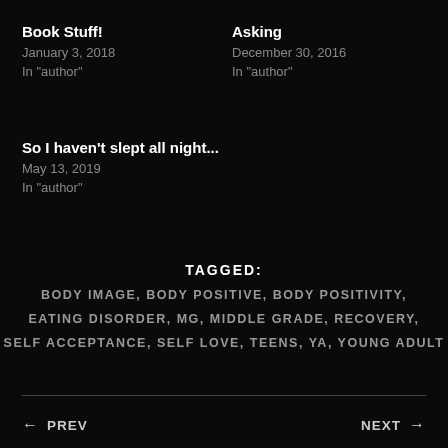Book Stuff!
January 3, 2018
In "author"
Asking
December 30, 2016
In "author"
So I haven't slept all night...
May 13, 2019
In "author"
TAGGED: BODY IMAGE, BODY POSITIVE, BODY POSITIVITY, EATING DISORDER, MG, MIDDLE GRADE, RECOVERY, SELF ACCEPTANCE, SELF LOVE, TEENS, YA, YOUNG ADULT
← PREV    NEXT →